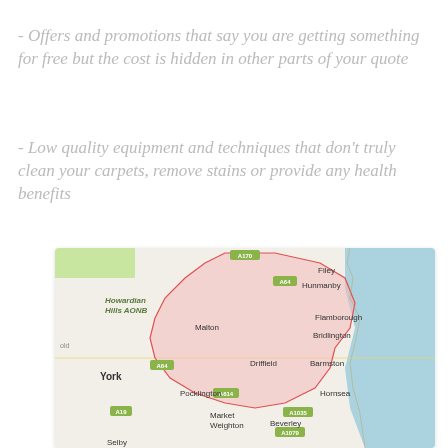- Offers and promotions that say you are getting something for free but the cost is hidden in other parts of your quote
- Low quality equipment and techniques that don't truly clean your carpets, remove stains or provide any health benefits
[Figure (map): Google Maps view of East Yorkshire and surrounding area showing Howardian Hills AONB, York, Malton, Filey, Hunmanby, Flamborough, Bridlington, Barmston, Hornsea, Driffield, Beverley, Pocklington, Market Weighton, Selby with road labels A64, A19, A614, A1035, A1079 and a pink shaded region outline]